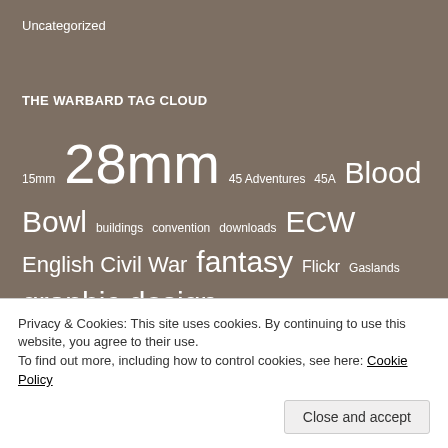Uncategorized
THE WARBARD TAG CLOUD
15mm 28mm 45 Adventures 45A Blood Bowl buildings convention downloads ECW English Civil War fantasy Flickr Gaslands graphic design graphics Great War Infinity Inkscape LAF Lead Adventure Forum Lead Painters League links LPL Mud & Blood naval painting PDF photography pulp Pulp Figures RCW review Russian Civil War scenery SG2
Privacy & Cookies: This site uses cookies. By continuing to use this website, you agree to their use. To find out more, including how to control cookies, see here: Cookie Policy
Close and accept